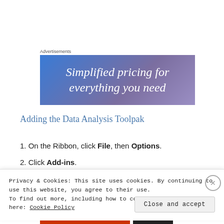Advertisements
[Figure (illustration): Advertisement banner with gradient blue-purple background and white italic text reading 'Simplified pricing for everything you need']
Adding the Data Analysis Toolpak
1. On the Ribbon, click File, then Options.
2. Click Add-ins.
Privacy & Cookies: This site uses cookies. By continuing to use this website, you agree to their use.
To find out more, including how to control cookies, see here: Cookie Policy
Close and accept